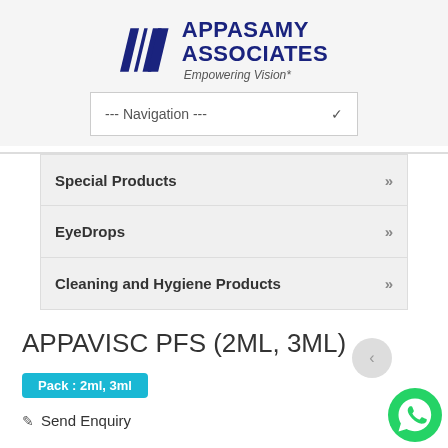[Figure (logo): Appasamy Associates logo with blue parallelogram/stripe graphic and text 'APPASAMY ASSOCIATES' in dark blue bold, tagline 'Empowering Vision*' in gray italic]
--- Navigation ---
Special Products »
EyeDrops »
Cleaning and Hygiene Products »
APPAVISC PFS (2ML, 3ML)
Pack : 2ml, 3ml
Send Enquiry